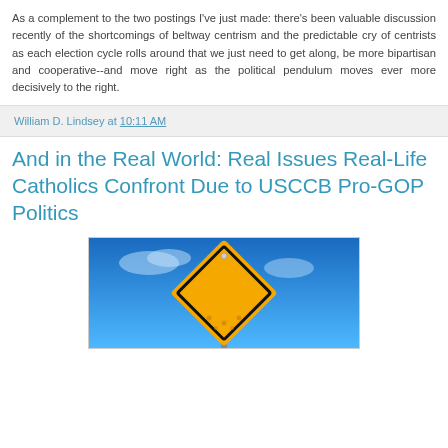As a complement to the two postings I've just made: there's been valuable discussion recently of the shortcomings of beltway centrism and the predictable cry of centrists as each election cycle rolls around that we just need to get along, be more bipartisan and cooperative--and move right as the political pendulum moves ever more decisively to the right.
William D. Lindsey at 10:11 AM
And in the Real World: Real Issues Real-Life Catholics Confront Due to USCCB Pro-GOP Politics
[Figure (photo): A yellow diamond-shaped warning road sign against a bright blue sky, viewed from below at an angle.]